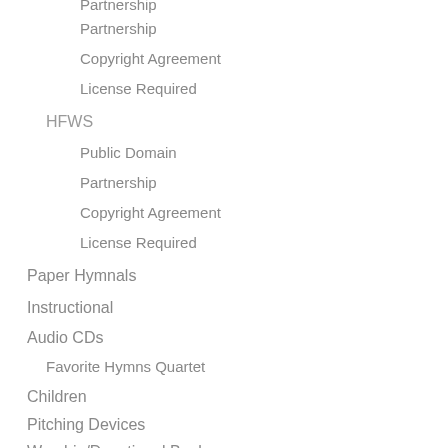Public Domain
Partnership
Copyright Agreement
License Required
HFWS
Public Domain
Partnership
Copyright Agreement
License Required
Paper Hymnals
Instructional
Audio CDs
Favorite Hymns Quartet
Children
Pitching Devices
Worship/Devotional Books